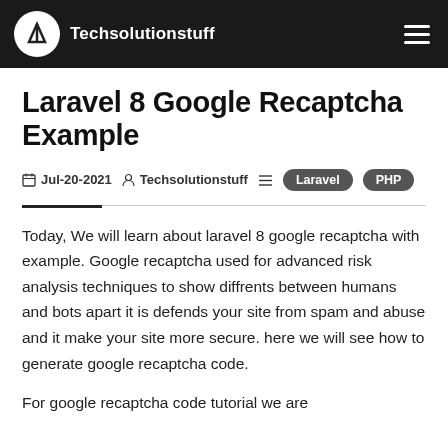Techsolutionstuff
Laravel 8 Google Recaptcha Example
Jul-20-2021  Techsolutionstuff  Laravel  PHP
Today, We will learn about laravel 8 google recaptcha with example. Google recaptcha used for advanced risk analysis techniques to show diffrents between humans and bots apart it is defends your site from spam and abuse and it make your site more secure. here we will see how to generate google recaptcha code.
For google recaptcha code tutorial we are